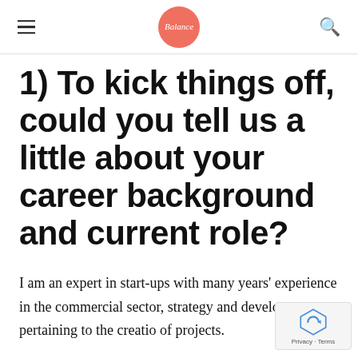Balance [logo] (hamburger menu, search icon)
1) To kick things off, could you tell us a little about your career background and current role?
I am an expert in start-ups with many years' experience in the commercial sector, strategy and development pertaining to the creation of projects.